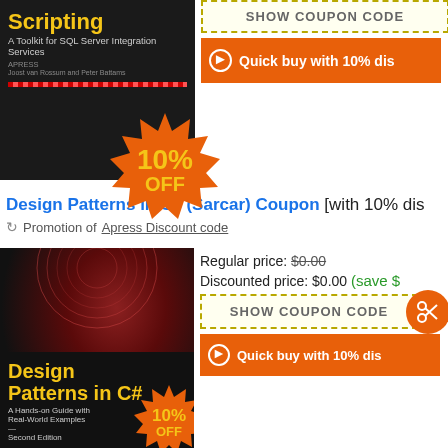[Figure (photo): Book cover for SSIS Scripting - A Toolkit for SQL Server Integration Services, with 10% OFF badge]
SHOW COUPON CODE
Quick buy with 10% dis...
Design Patterns in C# (Sarcar) Coupon [with 10% dis...
Promotion of Apress Discount code
[Figure (photo): Book cover for Design Patterns in C# - A Hands-on Guide with Real-World Examples, Second Edition]
Regular price: $0.00
Discounted price: $0.00 (save $...
SHOW COUPON CODE
Quick buy with 10% dis...